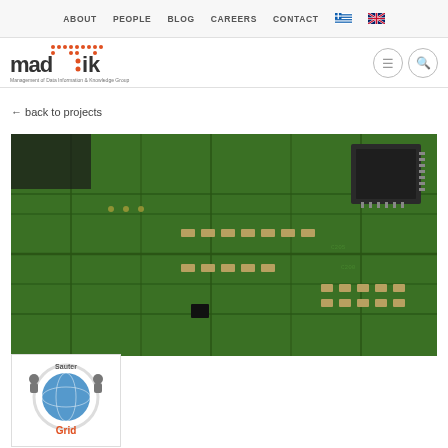ABOUT  PEOPLE  BLOG  CAREERS  CONTACT
[Figure (logo): MAD:IK logo - Management of Data Information & Knowledge Group]
← back to projects
[Figure (photo): Close-up photograph of a green printed circuit board with electronic components, capacitors, and a microchip]
[Figure (logo): SauterGrid logo - circular globe design with text SauterGrid]